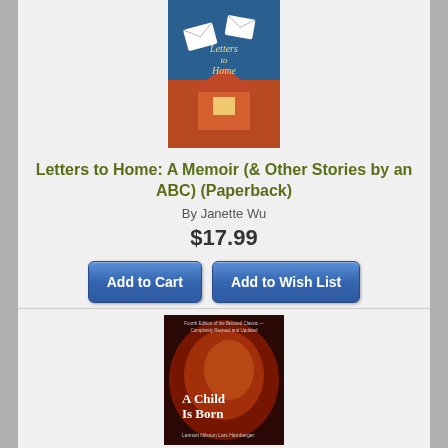[Figure (illustration): Book cover of 'Letters to Home: A Memoir (& Other Stories by an ABC)' showing letters and a house illustration on a blue and orange background]
Letters to Home: A Memoir (& Other Stories by an ABC) (Paperback)
By Janette Wu
$17.99
Add to Cart
Add to Wish List
Usually ships to store in 4-6 days.
[Figure (illustration): Book cover of 'A Child Is Born: Fourth Edition' by Lennart Nilsson and Lars Hamberger showing a fetus in reddish-purple tones]
A Child Is Born: Fourth Edition of the